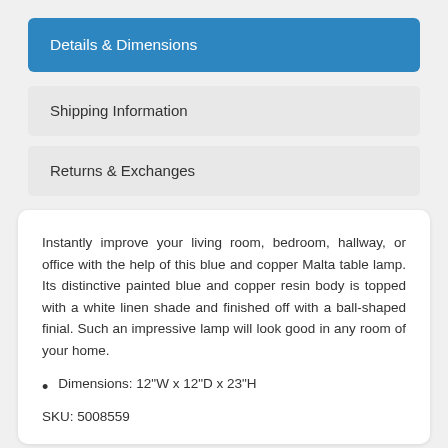Details & Dimensions
Shipping Information
Returns & Exchanges
Instantly improve your living room, bedroom, hallway, or office with the help of this blue and copper Malta table lamp. Its distinctive painted blue and copper resin body is topped with a white linen shade and finished off with a ball-shaped finial. Such an impressive lamp will look good in any room of your home.
Dimensions: 12"W x 12"D x 23"H
SKU: 5008559